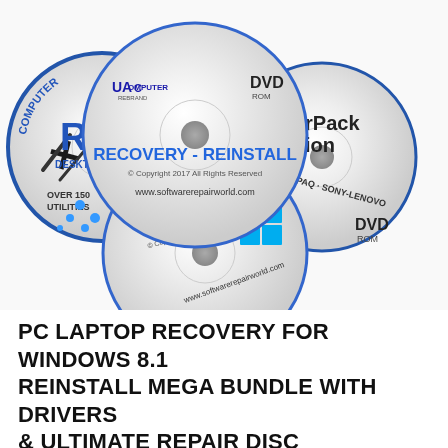[Figure (photo): Three DVD discs arranged in a fan layout on a white background. Top-center disc labeled 'RECOVERY - REINSTALL' with UAC Computer logo and DVD ROM, copyright 2017, www.softwarerepairworld.com. Bottom-left disc labeled 'Computer Repair Desktop' with wrench and screwdriver icon, 'OVER 150 UTILITIES'. Bottom-right disc labeled 'DriverPack Solution' for DELL, COMPAQ, SONY, LENOVO with DVD ROM. A fourth disc in front-bottom showing Windows logos and softwarerepairworld.com branding.]
PC LAPTOP RECOVERY FOR WINDOWS 8.1 REINSTALL MEGA BUNDLE WITH DRIVERS & ULTIMATE REPAIR DISC